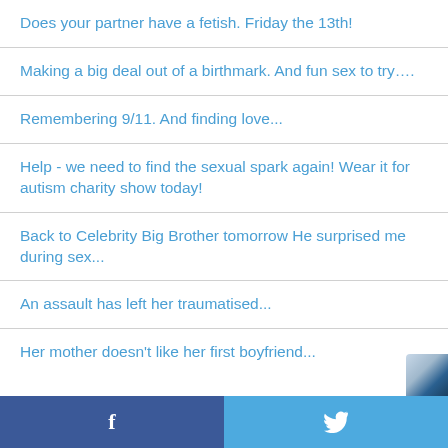Does your partner have a fetish. Friday the 13th!
Making a big deal out of a birthmark. And fun sex to try….
Remembering 9/11. And finding love...
Help - we need to find the sexual spark again! Wear it for autism charity show today!
Back to Celebrity Big Brother tomorrow He surprised me during sex...
An assault has left her traumatised...
Her mother doesn't like her first boyfriend...
f  [Twitter bird icon]